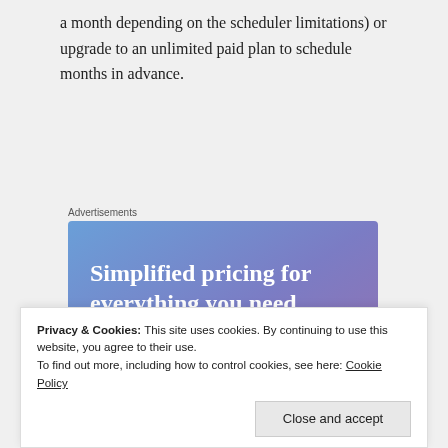a month depending on the scheduler limitations) or upgrade to an unlimited paid plan to schedule months in advance.
Advertisements
[Figure (illustration): Advertisement banner with gradient blue-to-purple background, white serif text reading 'Simplified pricing for everything you need.', a pink 'Build Your Website' button, and a tan price tag illustration on the right.]
Privacy & Cookies: This site uses cookies. By continuing to use this website, you agree to their use.
To find out more, including how to control cookies, see here: Cookie Policy
Close and accept